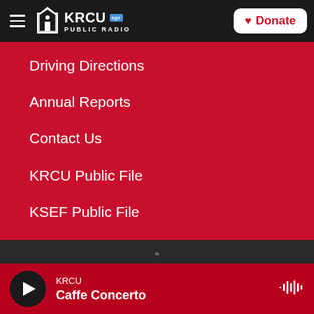KRCU NPR PUBLIC RADIO | Donate
Driving Directions
Annual Reports
Contact Us
KRCU Public File
KSEF Public File
KDMC Public File
KRCU — Caffe Concerto